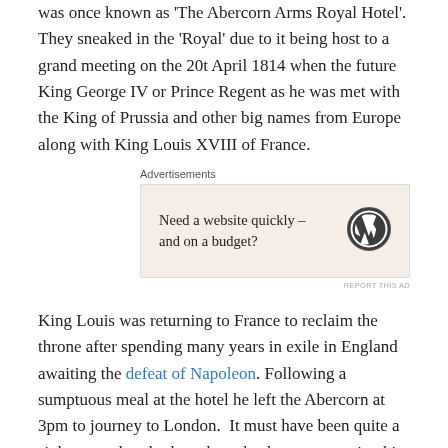was once known as 'The Abercorn Arms Royal Hotel'. They sneaked in the 'Royal' due to it being host to a grand meeting on the 20t April 1814 when the future King George IV or Prince Regent as he was met with the King of Prussia and other big names from Europe along with King Louis XVIII of France.
[Figure (other): WordPress advertisement banner with text 'Need a website quickly – and on a budget?' and WordPress logo]
King Louis was returning to France to reclaim the throne after spending many years in exile in England awaiting the defeat of Napoleon. Following a sumptuous meal at the hotel he left the Abercorn at 3pm to journey to London.  It must have been quite a sight to see hundreds on horseback accompanying him along with finely dressed trumpeters and our Royal Horse Guards flanking six royal